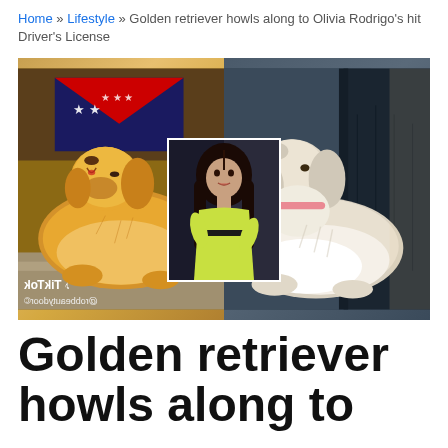Home » Lifestyle » Golden retriever howls along to Olivia Rodrigo's hit Driver's License
[Figure (photo): Composite image: left side shows a golden retriever lying on a rug with an American flag in the background, head tilted up howling, with a TikTok logo and username overlay (mirrored); right side shows a cream/white golden retriever lying on a car seat with head tilted up; center inset photo shows a young woman with long dark hair wearing a yellow-green dress.]
Golden retriever howls along to